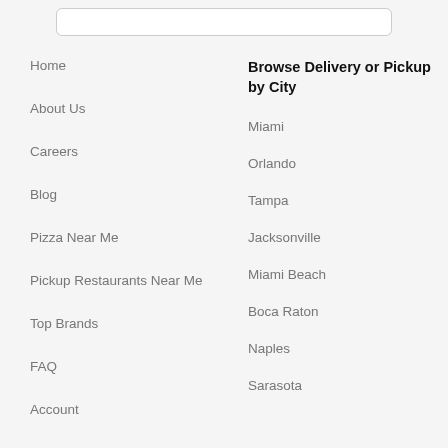[Figure (other): Search input box at top of page]
Home
About Us
Careers
Blog
Pizza Near Me
Pickup Restaurants Near Me
Top Brands
FAQ
Account
Privacy
Browse Delivery or Pickup by City
Miami
Orlando
Tampa
Jacksonville
Miami Beach
Boca Raton
Naples
Sarasota